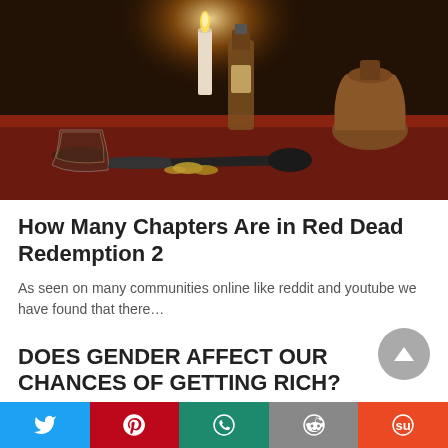[Figure (photo): Dark still-life painting with candle, whiskey bottle, revolver gun, coins, glass, and clay jug on a red-draped table]
How Many Chapters Are in Red Dead Redemption 2
As seen on many communities online like reddit and youtube we have found that there…
DOES GENDER AFFECT OUR CHANCES OF GETTING RICH?
Social share bar: Twitter, Pinterest, WhatsApp, Reddit, StumbleUpon